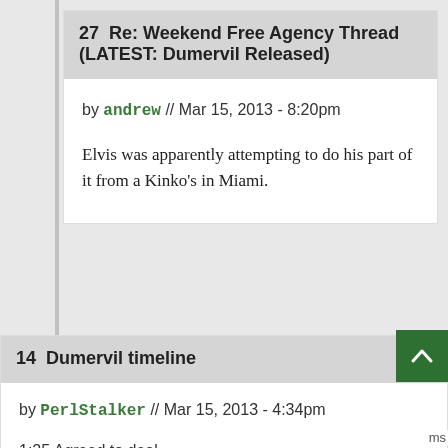27  Re: Weekend Free Agency Thread (LATEST: Dumervil Released)
by andrew // Mar 15, 2013 - 8:20pm
Elvis was apparently attempting to do his part of it from a Kinko's in Miami.
14  Dumervil timeline
by PerlStalker // Mar 15, 2013 - 4:34pm
1:25 Agreed to deal